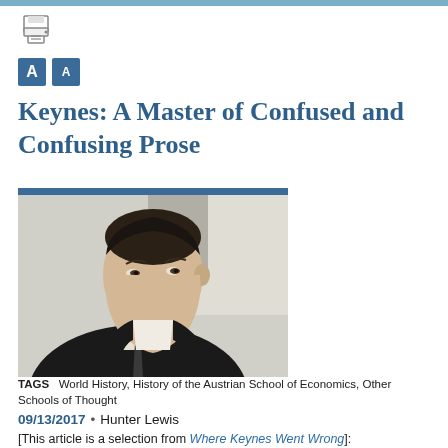[Figure (photo): Black and white photograph of John Maynard Keynes in a suit, facing slightly right, with a blue bar across the top of the image.]
Keynes: A Master of Confused and Confusing Prose
TAGS   World History, History of the Austrian School of Economics, Other Schools of Thought
09/13/2017  •  Hunter Lewis
[This article is a selection from Where Keynes Went Wrong]: